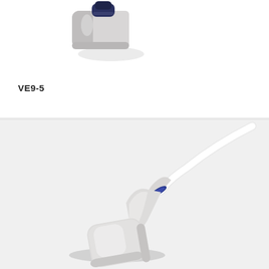[Figure (photo): Partial view of an ultrasound probe (transducer) showing the connector end, dark blue/navy colored connector tip, photographed from above on white background]
VE9-5
[Figure (photo): Full ultrasound probe (transducer) VE9-5 with white body, rounded rectangular head/footprint, blue ring accent near the cable, and white cable extending to upper right, photographed on light gray background]